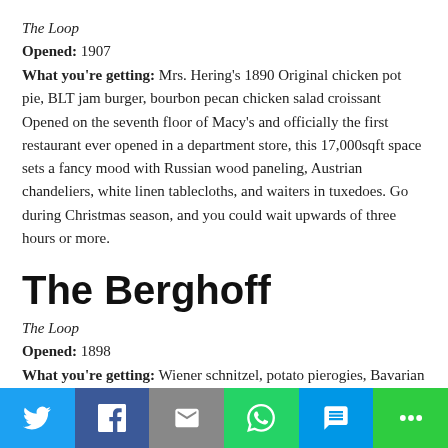The Loop
Opened: 1907
What you're getting: Mrs. Hering's 1890 Original chicken pot pie, BLT jam burger, bourbon pecan chicken salad croissant Opened on the seventh floor of Macy's and officially the first restaurant ever opened in a department store, this 17,000sqft space sets a fancy mood with Russian wood paneling, Austrian chandeliers, white linen tablecloths, and waiters in tuxedoes. Go during Christmas season, and you could wait upwards of three hours or more.
The Berghoff
The Loop
Opened: 1898
What you're getting: Wiener schnitzel, potato pierogies, Bavarian pretzel, slow-braised drunken ox joints.
[Figure (infographic): Social media share bar with icons for Twitter, Facebook, Email, WhatsApp, SMS, and More options]